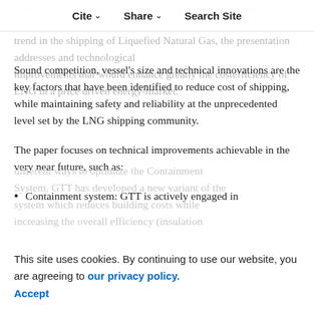Cite | Share | Search Site
trend in the shipping of Liquefied Natural Gas, the presentation addresses and technological improvements that would enhance greatly the costefficiency of LNG in a price driven energy-market.
Sound competition, vessel's size and technical innovations are the key factors that have been identified to reduce cost of shipping, while maintaining safety and reliability at the unprecedented level set by the LNG shipping community.
The paper focuses on technical improvements achievable in the very near future, such as:
Containment system: GTT is actively engaged in different ways to optimize the Containment System. GTT has developed a new variant of the system which reduces building costs while increasing the overall efficiency (insulation
This site uses cookies. By continuing to use our website, you are agreeing to our privacy policy. Accept